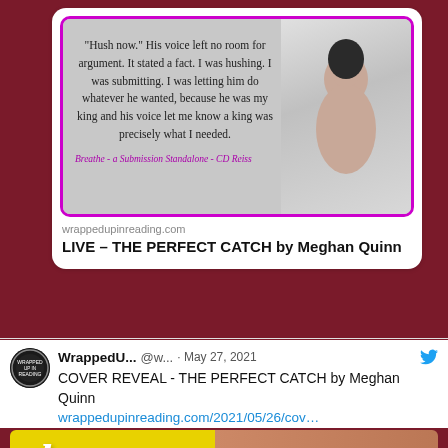[Figure (screenshot): Twitter/social media feed screenshot showing two tweets about books. First tweet shows a book quote image for 'Breathe - a Submission Standalone - CD Reiss' with link preview to wrappedupinreading.com for 'LIVE – THE PERFECT CATCH by Meghan Quinn'. Second tweet by WrappedU... @w... May 27, 2021 about 'COVER REVEAL - THE PERFECT CATCH by Meghan Quinn' with link to wrappedupinreading.com/2021/05/26/cov... and partial book cover image at bottom.]